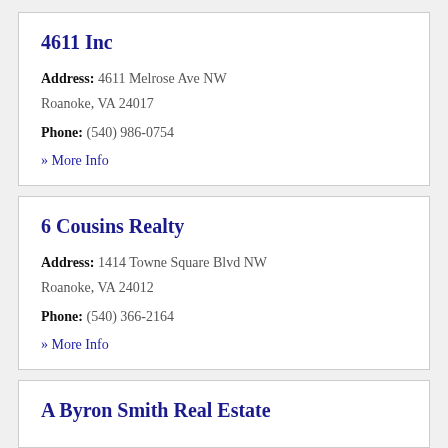4611 Inc
Address: 4611 Melrose Ave NW Roanoke, VA 24017
Phone: (540) 986-0754
» More Info
6 Cousins Realty
Address: 1414 Towne Square Blvd NW Roanoke, VA 24012
Phone: (540) 366-2164
» More Info
A Byron Smith Real Estate